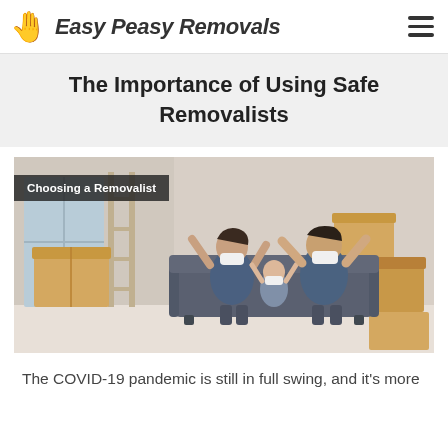Easy Peasy Removals
The Importance of Using Safe Removalists
[Figure (photo): A family of three wearing face masks sitting on a grey sofa surrounded by moving boxes, looking happy with arms raised. Caption overlay reads 'Choosing a Removalist'.]
The COVID-19 pandemic is still in full swing, and it's more